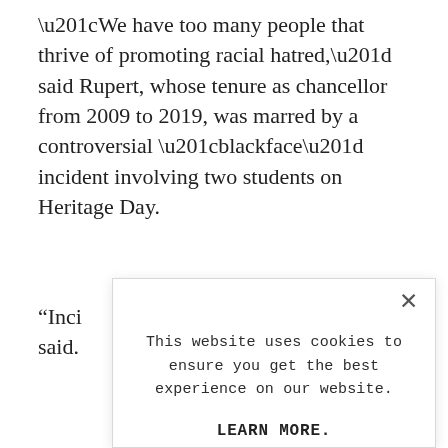“We have too many people that thrive of promoting racial hatred,” said Rupert, whose tenure as chancellor from 2009 to 2019, was marred by a controversial “blackface” incident involving two students on Heritage Day.
“Inci said.
Mo
•
•
[Figure (screenshot): Cookie consent modal dialog overlaying the page content. Contains a close X button, text reading 'This website uses cookies to ensure you get the best experience on our website.' followed by bold 'LEARN MORE.' and a light blue 'ACCEPT COOKIES' button.]